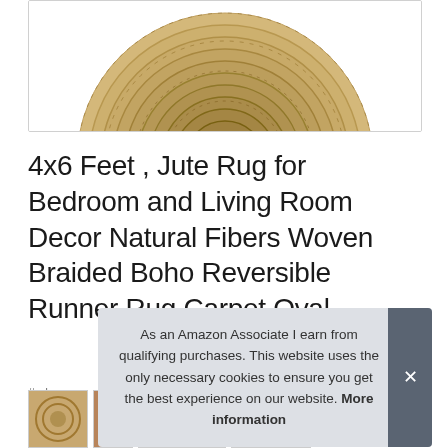[Figure (photo): Round braided jute rug photographed from above, showing natural fiber spiral pattern in tan/beige tones, cropped at top]
4x6 Feet , Jute Rug for Bedroom and Living Room Decor Natural Fibers Woven Braided Boho Reversible Runner Rug Carpet Oval
#ad
As an Amazon Associate I earn from qualifying purchases. This website uses the only necessary cookies to ensure you get the best experience on our website. More information
[Figure (photo): Small product thumbnail images showing jute rugs in various colors at the bottom of the page]